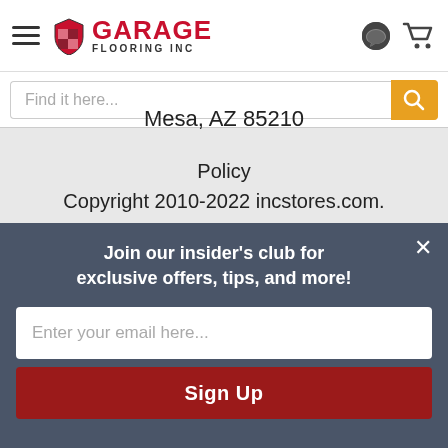[Figure (logo): Garage Flooring INC logo with shield icon, hamburger menu, chat and cart icons in header navigation bar]
[Figure (screenshot): Search bar with placeholder text 'Find it here...' and orange search button]
Mesa, AZ 85210
Policy
Copyright 2010-2022 incstores.com.
All rights reserved.
Join our insider's club for exclusive offers, tips, and more!
Enter your email here...
Sign Up